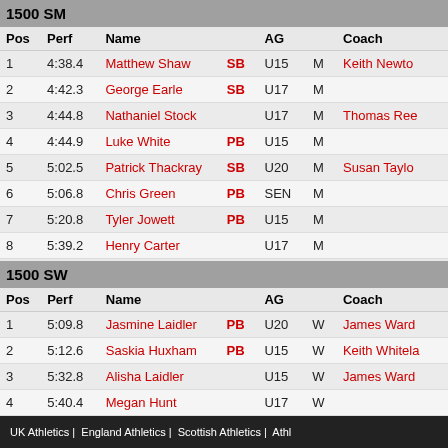1500 SM
| Pos | Perf | Name |  | AG |  | Coach |
| --- | --- | --- | --- | --- | --- | --- |
| 1 | 4:38.4 | Matthew Shaw | SB | U15 | M | Keith Newton |
| 2 | 4:42.3 | George Earle | SB | U17 | M |  |
| 3 | 4:44.8 | Nathaniel Stock |  | U17 | M | Thomas Ree |
| 4 | 4:44.9 | Luke White | PB | U15 | M |  |
| 5 | 5:02.5 | Patrick Thackray | SB | U20 | M | Susan Taylor |
| 6 | 5:06.8 | Chris Green | PB | SEN | M |  |
| 7 | 5:20.8 | Tyler Jowett | PB | U15 | M |  |
| 8 | 5:39.2 | Henry Carter |  | U17 | M |  |
1500 SW
| Pos | Perf | Name |  | AG |  | Coach |
| --- | --- | --- | --- | --- | --- | --- |
| 1 | 5:09.8 | Jasmine Laidler | PB | U20 | W | James Ward |
| 2 | 5:12.6 | Saskia Huxham | PB | U15 | W | Keith Whitela |
| 3 | 5:32.8 | Alisha Laidler |  | U15 | W | James Ward |
| 4 | 5:40.4 | Megan Hunt |  | U17 | W |  |
| 5 | 5:48.4 | Molly Waring |  | U15 | W | Stuart Hall |
| 6 | 6:01.7 | Amy Brain |  | U15 | W |  |
UK Athletics |  England Athletics |  Scottish Athletics |  Athl